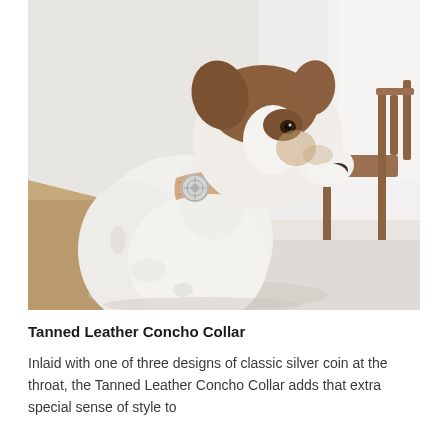[Figure (photo): A white and brown Jack Russell Terrier dog sitting in profile view, wearing a tan/natural leather collar with a round silver concho decorative element at the throat. The dog faces right. Background shows a light grey/white interior with a wooden chair visible on the right side.]
Tanned Leather Concho Collar
Inlaid with one of three designs of classic silver coin at the throat, the Tanned Leather Concho Collar adds that extra special sense of style to